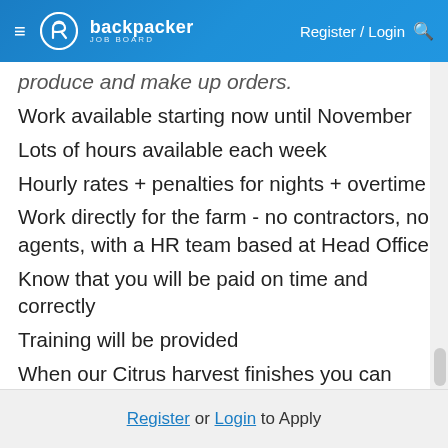backpacker JOB BOARD — Register / Login
produce and make up orders.
Work available starting now until November
Lots of hours available each week
Hourly rates + penalties for nights + overtime
Work directly for the farm - no contractors, no agents, with a HR team based at Head Office
Know that you will be paid on time and correctly
Training will be provided
When our Citrus harvest finishes you can work at one of our other farms and distribution centres across NSW, QLD, WA, or TAS
Register or Login to Apply